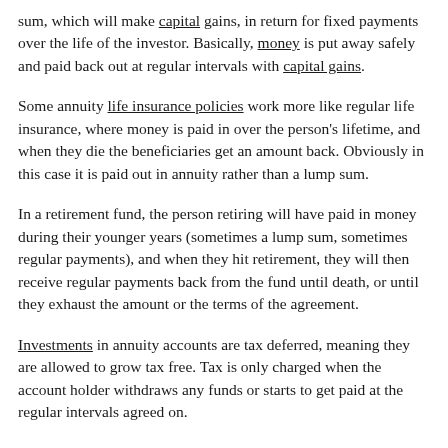sum, which will make capital gains, in return for fixed payments over the life of the investor. Basically, money is put away safely and paid back out at regular intervals with capital gains.
Some annuity life insurance policies work more like regular life insurance, where money is paid in over the person's lifetime, and when they die the beneficiaries get an amount back. Obviously in this case it is paid out in annuity rather than a lump sum.
In a retirement fund, the person retiring will have paid in money during their younger years (sometimes a lump sum, sometimes regular payments), and when they hit retirement, they will then receive regular payments back from the fund until death, or until they exhaust the amount or the terms of the agreement.
Investments in annuity accounts are tax deferred, meaning they are allowed to grow tax free. Tax is only charged when the account holder withdraws any funds or starts to get paid at the regular intervals agreed on.